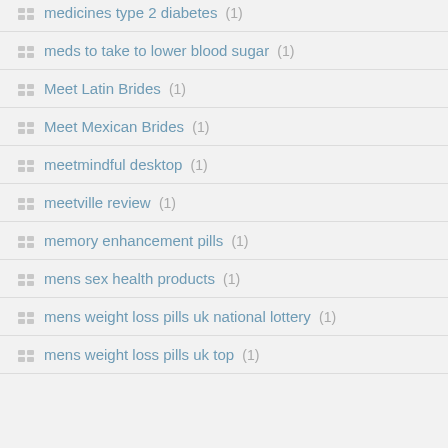medicines type 2 diabetes (1)
meds to take to lower blood sugar (1)
Meet Latin Brides (1)
Meet Mexican Brides (1)
meetmindful desktop (1)
meetville review (1)
memory enhancement pills (1)
mens sex health products (1)
mens weight loss pills uk national lottery (1)
mens weight loss pills uk top (1)